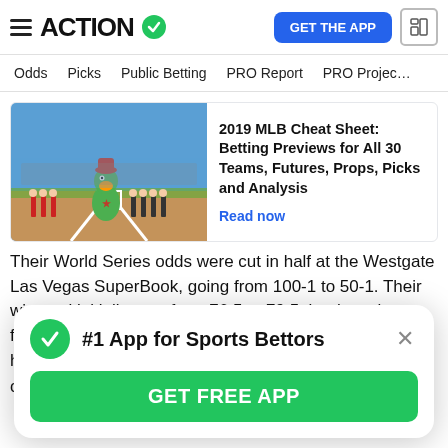ACTION (logo with checkmark) | GET THE APP
Odds  Picks  Public Betting  PRO Report  PRO Projec…
[Figure (photo): Baseball mascot (green bird/Phillie Phanatic type character) on a baseball field with players lined up behind, spring training setting, blue sky]
2019 MLB Cheat Sheet: Betting Previews for All 30 Teams, Futures, Props, Picks and Analysis
Read now
Their World Series odds were cut in half at the Westgate Las Vegas SuperBook, going from 100-1 to 50-1. Their win total initially rose from 76.5 to 79.5, but has since fallen back to 78.5. Their odds of winning the NL west have also
#1 App for Sports Bettors
GET FREE APP
overall prospect per MLB.com's Top 100 list. They have